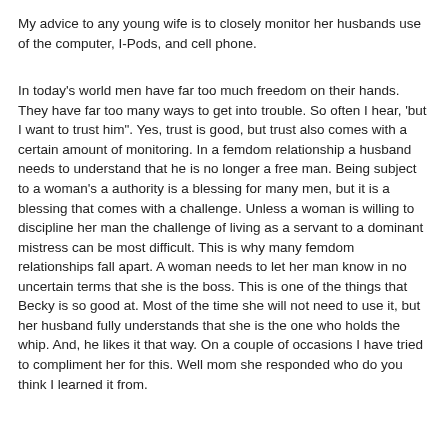My advice to any young wife is to closely monitor her husbands use of the computer, I-Pods, and cell phone.
In today's world men have far too much freedom on their hands. They have far too many ways to get into trouble. So often I hear, 'but I want to trust him". Yes, trust is good, but trust also comes with a certain amount of monitoring. In a femdom relationship a husband needs to understand that he is no longer a free man. Being subject to a woman's a authority is a blessing for many men, but it is a blessing that comes with a challenge. Unless a woman is willing to discipline her man the challenge of living as a servant to a dominant mistress can be most difficult. This is why many femdom relationships fall apart. A woman needs to let her man know in no uncertain terms that she is the boss. This is one of the things that Becky is so good at. Most of the time she will not need to use it, but her husband fully understands that she is the one who holds the whip. And, he likes it that way. On a couple of occasions I have tried to compliment her for this. Well mom she responded who do you think I learned it from.